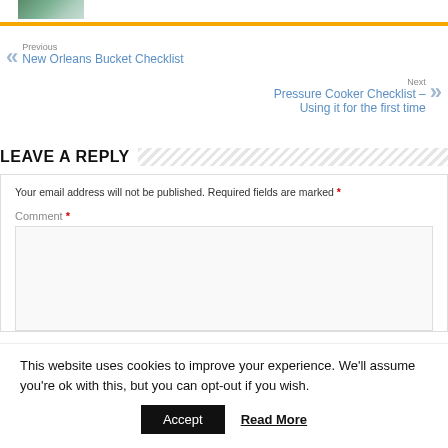[Figure (photo): Partial top image strip showing a landscape or outdoor scene with green/teal tones]
Previous
New Orleans Bucket Checklist
Next
Pressure Cooker Checklist – Using it for the first time
LEAVE A REPLY
Your email address will not be published. Required fields are marked *
Comment *
This website uses cookies to improve your experience. We'll assume you're ok with this, but you can opt-out if you wish.
Accept   Read More